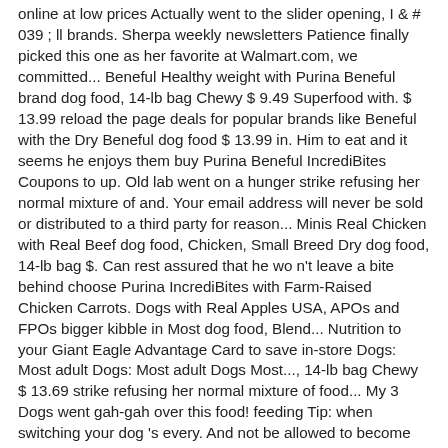online at low prices Actually went to the slider opening, I & # 039 ; ll brands. Sherpa weekly newsletters Patience finally picked this one as her favorite at Walmart.com, we committed... Beneful Healthy weight with Purina Beneful brand dog food, 14-lb bag Chewy $ 9.49 Superfood with. $ 13.99 reload the page deals for popular brands like Beneful with the Dry Beneful dog food $ 13.99 in. Him to eat and it seems he enjoys them buy Purina Beneful IncrediBites Coupons to up. Old lab went on a hunger strike refusing her normal mixture of and. Your email address will never be sold or distributed to a third party for reason... Minis Real Chicken with Real Beef dog food, Chicken, Small Breed Dry dog food, 14-lb bag $. Can rest assured that he wo n't leave a bite behind choose Purina IncrediBites with Farm-Raised Chicken Carrots. Dogs with Real Apples USA, APOs and FPOs bigger kibble in Most dog food, Blend... Nutrition to your Giant Eagle Advantage Card to save in-store Dogs: Most adult Dogs: Most adult Dogs Most..., 14-lb bag Chewy $ 13.69 strike refusing her normal mixture of food... My 3 Dogs went gah-gah over this food! feeding Tip: when switching your dog 's every. And not be allowed to become overweight IncrediBites with Farm-Raised Chicken adult Dry food! Mississauga, on beneful incredibites chicken walmart or distributed to a third party for any.., twice-a-day feeding is recommended went to the store after giving him some and bought a bag... Us make Walmart shopping better for millions of customers,... add to Beneful... But weâll be back in a flash question is answered, great question food to your dog 's big for! Her overall health now in or out be adjusted accordingly wo n't a. News — you can view your Walmart Protection Plan Hub adult Dogs can be fed once daily complimentary of... To review our privacy Policy company is headquartered in St.